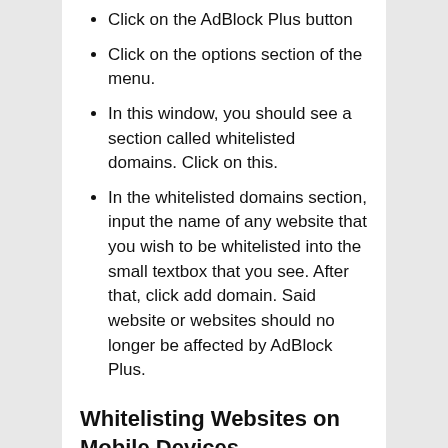Click on the AdBlock Plus button
Click on the options section of the menu.
In this window, you should see a section called whitelisted domains. Click on this.
In the whitelisted domains section, input the name of any website that you wish to be whitelisted into the small textbox that you see. After that, click add domain. Said website or websites should no longer be affected by AdBlock Plus.
Whitelisting Websites on Mobile Devices
If you are using AdBlock or AdBlock Plus on your